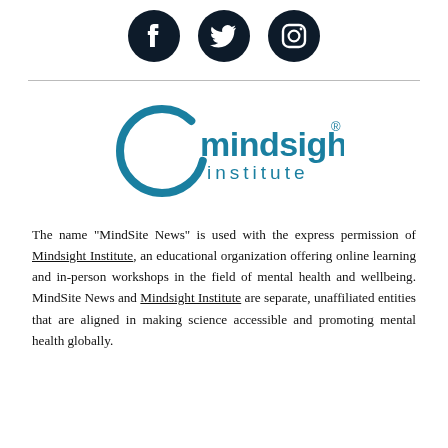[Figure (illustration): Three social media icons (Facebook, Twitter, Instagram) as dark navy filled circles]
[Figure (logo): Mindsight Institute logo — teal circle arc on the left with 'mindsight institute' text in teal]
The name "MindSite News" is used with the express permission of Mindsight Institute, an educational organization offering online learning and in-person workshops in the field of mental health and wellbeing. MindSite News and Mindsight Institute are separate, unaffiliated entities that are aligned in making science accessible and promoting mental health globally.